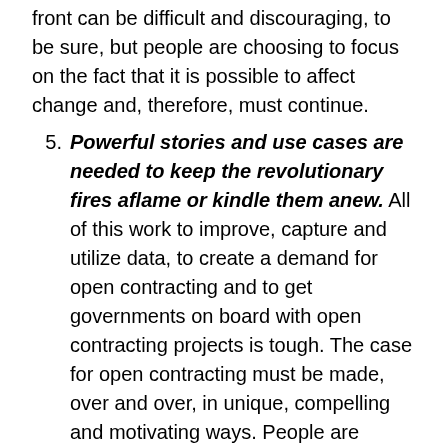front can be difficult and discouraging, to be sure, but people are choosing to focus on the fact that it is possible to affect change and, therefore, must continue.
5. Powerful stories and use cases are needed to keep the revolutionary fires aflame or kindle them anew. All of this work to improve, capture and utilize data, to create a demand for open contracting and to get governments on board with open contracting projects is tough. The case for open contracting must be made, over and over, in unique, compelling and motivating ways. People are asking for ways to show positive results and impact, but also want to balance quantitative results with stories about those successes. To accomplish this, we must